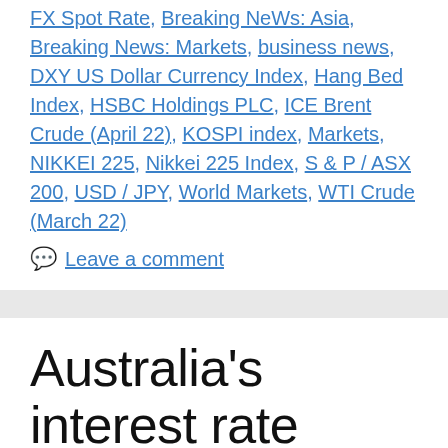FX Spot Rate, Breaking NeWs: Asia, Breaking News: Markets, business news, DXY US Dollar Currency Index, Hang Bed Index, HSBC Holdings PLC, ICE Brent Crude (April 22), KOSPI index, Markets, NIKKEI 225, Nikkei 225 Index, S & P / ASX 200, USD / JPY, World Markets, WTI Crude (March 22)
Leave a comment
Australia's interest rate decision, oil, currencies